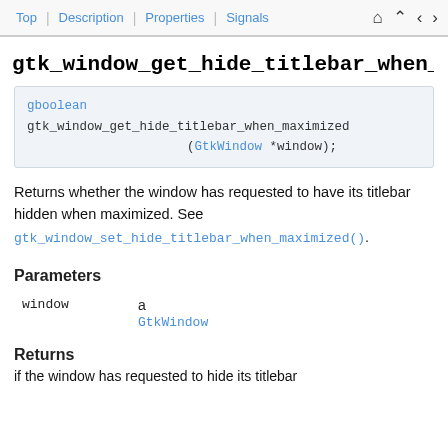Top | Description | Properties | Signals
gtk_window_get_hide_titlebar_when_maximized (
gboolean gtk_window_get_hide_titlebar_when_maximized (GtkWindow *window);
Returns whether the window has requested to have its titlebar hidden when maximized. See gtk_window_set_hide_titlebar_when_maximized().
Parameters
window	a GtkWindow
Returns
if the window has requested to hide its titlebar